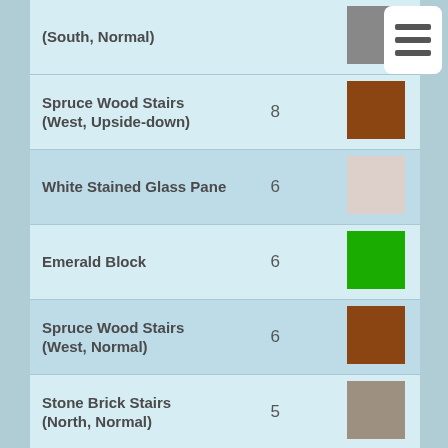| Block Name | Count | Color |
| --- | --- | --- |
| (South, Normal) |  | gray |
| Spruce Wood Stairs (West, Upside-down) | 8 | brown |
| White Stained Glass Pane | 6 | light pink |
| Emerald Block | 6 | green |
| Spruce Wood Stairs (West, Normal) | 6 | brown |
| Stone Brick Stairs (North, Normal) | 5 | gray-tan |
| Green Stained Glass Pane | 4 | muted green |
| Bookshelf | 3 | brown |
| Cobblestone Stairs (East, Normal) | 2 | gray |
| Cobblestone Stairs (West, Normal) | 2 | light gray |